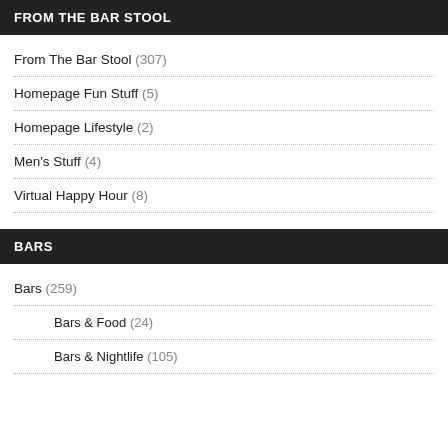FROM THE BAR STOOL
From The Bar Stool (307)
Homepage Fun Stuff (5)
Homepage Lifestyle (2)
Men's Stuff (4)
Virtual Happy Hour (8)
BARS
Bars (259)
Bars & Food (24)
Bars & Nightlife (105)